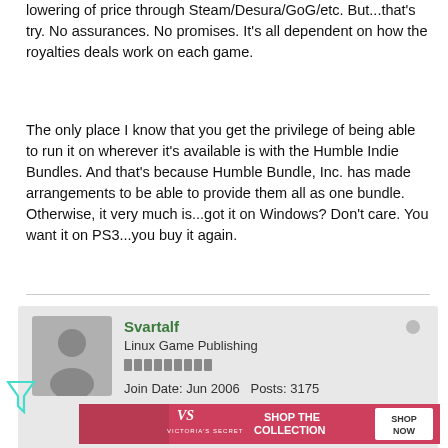lowering of price through Steam/Desura/GoG/etc. But...that's try. No assurances. No promises. It's all dependent on how the royalties deals work on each game.
The only place I know that you get the privilege of being able to run it on wherever it's available is with the Humble Indie Bundles. And that's because Humble Bundle, Inc. has made arrangements to be able to provide them all as one bundle. Otherwise, it very much is...got it on Windows? Don't care. You want it on PS3...you buy it again.
Svartalf
Linux Game Publishing
Join Date: Jun 2006  Posts: 3175
[Figure (photo): Victoria's Secret advertisement banner: woman with curly hair on pink background, VS logo, 'SHOP THE COLLECTION', 'SHOP NOW' button]